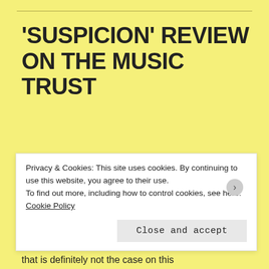'SUSPICION' REVIEW ON THE MUSIC TRUST
We hope that The Music Trust can be trusted, because they've just given 'Suspicion' a great review. Check out a small portion below, or the full review here.
Often when a largely instrumental group adds a vocalist, the lyrics are secondary or even cursory. But that is definitely not the case on this
Privacy & Cookies: This site uses cookies. By continuing to use this website, you agree to their use.
To find out more, including how to control cookies, see here: Cookie Policy
Close and accept